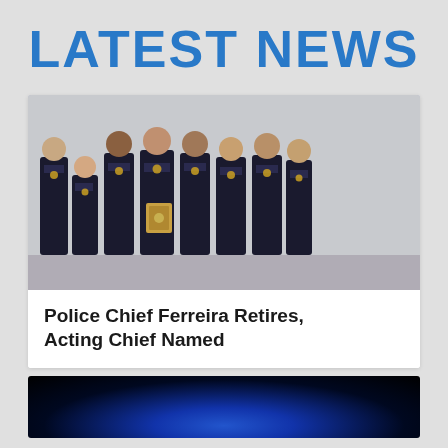LATEST NEWS
[Figure (photo): Group photo of approximately nine police officers in dark uniforms standing together, with one officer in the center holding a wooden plaque award, posed against a white wall.]
Police Chief Ferreira Retires, Acting Chief Named
[Figure (photo): Dark image with blue lighting, partially visible at bottom of page.]